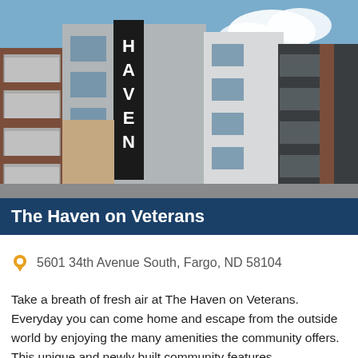[Figure (photo): Exterior photo of The Haven on Veterans apartment complex, a modern multi-story building with gray and brown panels, white balconies, large windows, and a vertical sign reading HAVEN, set against a partly cloudy blue sky.]
The Haven on Veterans
5601 34th Avenue South, Fargo, ND 58104
Take a breath of fresh air at The Haven on Veterans. Everyday you can come home and escape from the outside world by enjoying the many amenities the community offers. This unique and newly built community features